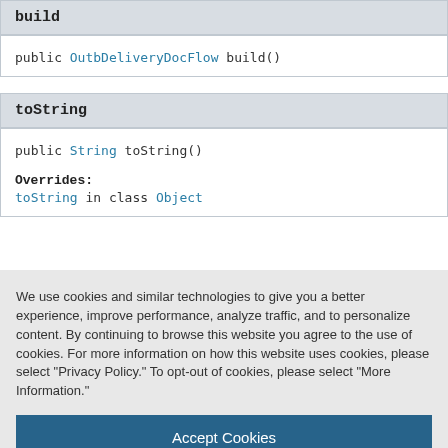build
public OutbDeliveryDocFlow build()
toString
public String toString()
Overrides:
toString in class Object
We use cookies and similar technologies to give you a better experience, improve performance, analyze traffic, and to personalize content. By continuing to browse this website you agree to the use of cookies. For more information on how this website uses cookies, please select "Privacy Policy." To opt-out of cookies, please select "More Information."
Accept Cookies
More Information
Privacy Policy | Powered by: TrustArc